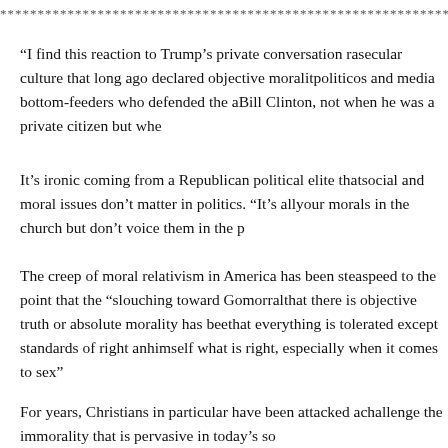******************************************
“I find this reaction to Trump’s private conversation ra… secular culture that long ago declared objective moralit… politicos and media bottom-feeders who defended the a… Bill Clinton, not when he was a private citizen but whe…
It’s ironic coming from a Republican political elite that… social and moral issues don’t matter in politics. “It’s all… your morals in the church but don’t voice them in the p…
The creep of moral relativism in America has been stea… speed to the point that the “slouching toward Gomorral… that there is objective truth or absolute morality has bee… that everything is tolerated except standards of right an… himself what is right, especially when it comes to sex”
For years, Christians in particular have been attacked a… challenge the immorality that is pervasive in today’s so…